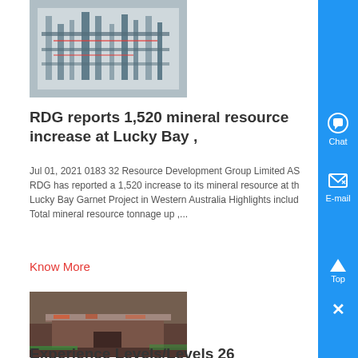[Figure (photo): Industrial machinery/processing equipment photo at top left]
RDG reports 1,520 mineral resource increase at Lucky Bay ,
Jul 01, 2021 0183 32 Resource Development Group Limited ASG RDG has reported a 1,520 increase to its mineral resource at the Lucky Bay Garnet Project in Western Australia Highlights includ Total mineral resource tonnage up ,...
Know More
[Figure (photo): Old weathered mining shed or hut in a forested area]
Experience Levels/Levels 26